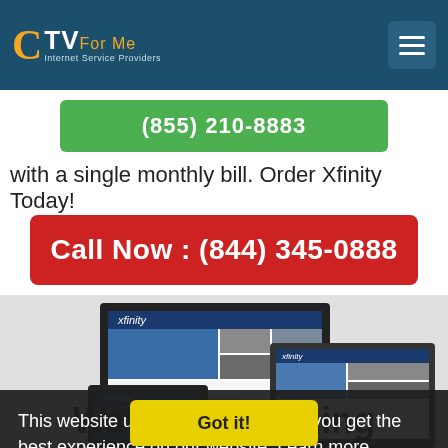CTV For Me - Internet Service Providers
(855) 210-8883
with a single monthly bill. Order Xfinity Today!
Call Now : (844) 345-0888
[Figure (screenshot): Xfinity website shown on multiple devices: laptop, tablet, and phone screens]
This website uses cookies to ensure you get the best experience on our website. Learn more
Got it!
Watch Everything with XFINITY TV in